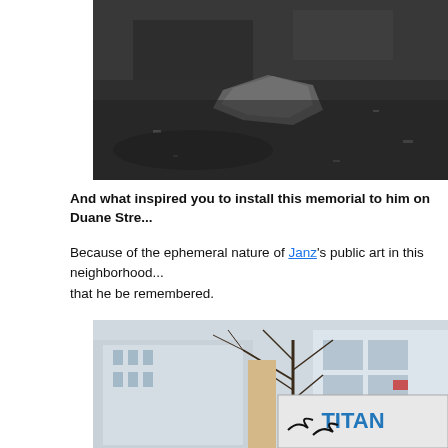[Figure (photo): Close-up photo of dark wet ground or pavement with scattered debris and a rock or stone visible]
And what inspired you to install this memorial to him on Duane Stre...
Because of the ephemeral nature of Janz's public art in this neighborhood... that he be remembered.
[Figure (photo): Outdoor urban photo showing bare winter trees, city buildings in the background, a TITAN billboard or sign in the foreground with street art showing birds]